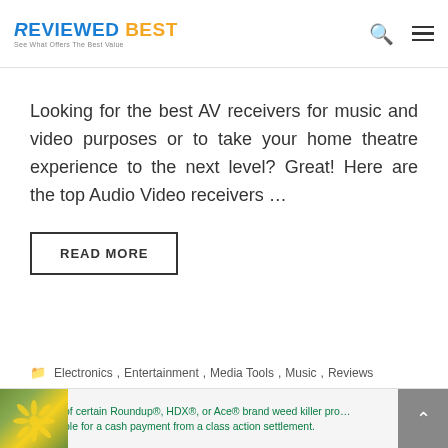ReviewedBest — See What Offers The Best Value
Looking for the best AV receivers for music and video purposes or to take your home theatre experience to the next level? Great! Here are the top Audio Video receivers …
READ MORE
Electronics, Entertainment, Media Tools, Music, Reviews
Purchasers of certain Roundup®, HDX®, or Ace® brand weed killer products may be eligible for a cash payment from a class action settlement. Visit www.WeedKillerAdSettlement.com to learn more.